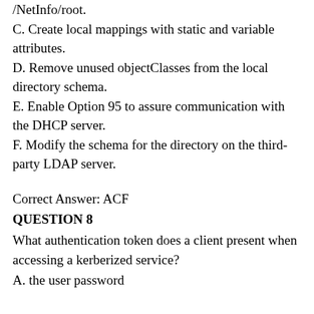/NetInfo/root.
C. Create local mappings with static and variable attributes.
D. Remove unused objectClasses from the local directory schema.
E. Enable Option 95 to assure communication with the DHCP server.
F. Modify the schema for the directory on the third-party LDAP server.
Correct Answer: ACF
QUESTION 8
What authentication token does a client present when accessing a kerberized service?
A. the user password